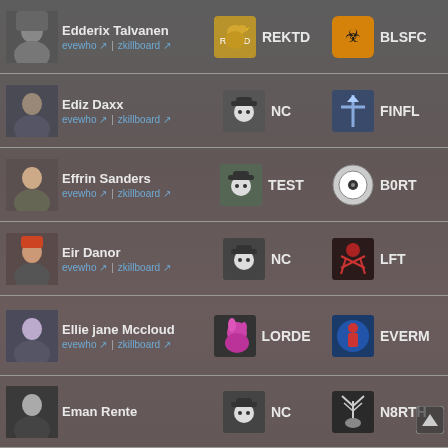Edderix Talvanen | evewho | zkillboard | Corp: REKTD | Alliance: BLSFC
Ediz Daxx | evewho | zkillboard | Corp: NC | Alliance: FINFL
Effrin Sanders | evewho | zkillboard | Corp: TEST | Alliance: B0RT
Eir Danor | evewho | zkillboard | Corp: NC | Alliance: LFT
Ellie jane Mccloud | evewho | zkillboard | Corp: LORDE | Alliance: EVERM
Eman Rente | Corp: NC | Alliance: N8RTH